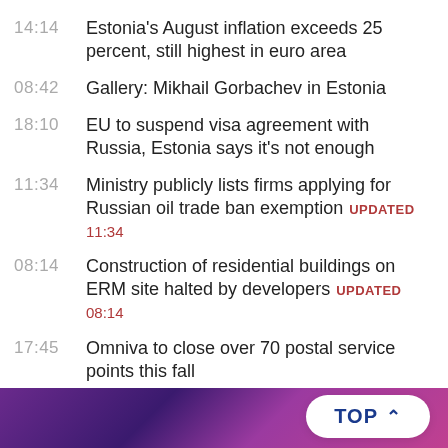14:14  Estonia's August inflation exceeds 25 percent, still highest in euro area
08:42  Gallery: Mikhail Gorbachev in Estonia
18:10  EU to suspend visa agreement with Russia, Estonia says it's not enough
11:34  Ministry publicly lists firms applying for Russian oil trade ban exemption  UPDATED 11:34
08:14  Construction of residential buildings on ERM site halted by developers  UPDATED 08:14
17:45  Omniva to close over 70 postal service points this fall
USEFUL INFORMATION
[Figure (screenshot): Bottom bar with purple gradient background and a 'TOP ^' button on the right]